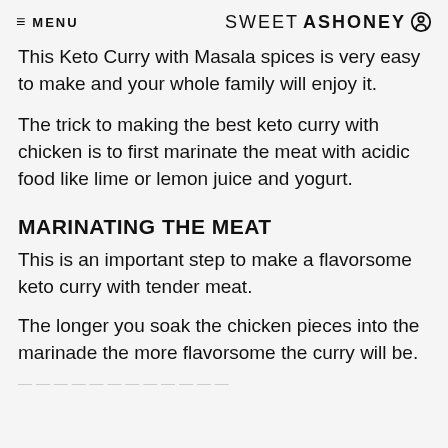≡ MENU  SWEETASHONEY
This Keto Curry with Masala spices is very easy to make and your whole family will enjoy it.
The trick to making the best keto curry with chicken is to first marinate the meat with acidic food like lime or lemon juice and yogurt.
MARINATING THE MEAT
This is an important step to make a flavorsome keto curry with tender meat.
The longer you soak the chicken pieces into the marinade the more flavorsome the curry will be.